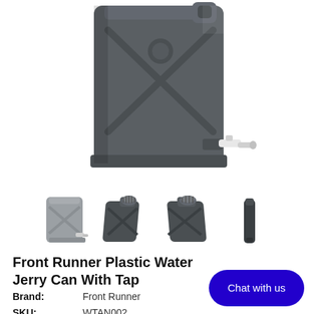[Figure (photo): Main product image of a dark grey plastic water jerry can with a white tap/spout attached at the bottom front. The can is photographed at a slight angle showing the front and side with an X-pattern embossed on the front panel.]
[Figure (photo): Row of four thumbnail images showing the jerry can from different angles: 1) front view showing lighter grey can with tap, 2) angled view of dark can showing threaded cap opening, 3) side-angled view of dark can, 4) thin edge/side view of dark can.]
Front Runner Plastic Water Jerry Can With Tap
Brand: Front Runner
SKU: WTAN002